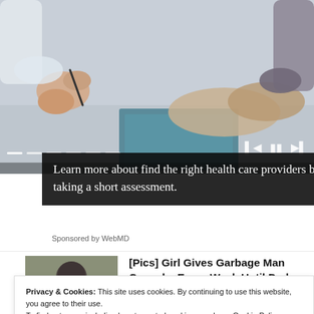[Figure (photo): Medical consultation scene showing hands of doctor and patient with clipboard and pen on a desk, with video player controls and progress bar at the bottom]
Learn more about find the right health care providers by taking a short assessment.
Sponsored by WebMD
[Figure (photo): Thumbnail photo of a child in a garden or outdoor setting]
[Pics] Girl Gives Garbage Man Cupcake Every Week Until Dad
Privacy & Cookies: This site uses cookies. By continuing to use this website, you agree to their use.
To find out more, including how to control cookies, see here: Cookie Policy
Close and accept
[Figure (photo): Thumbnail photo of two people wearing sunglasses]
The Richest Men On The Planet